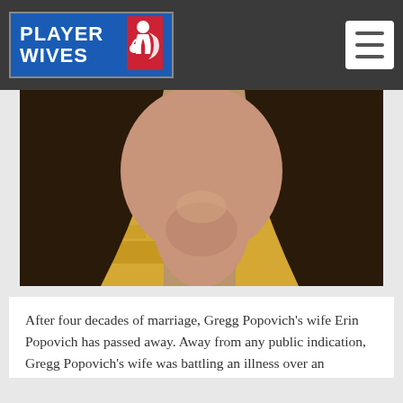PLAYER WIVES
[Figure (photo): Close-up photo of a woman with long dark hair, wearing a yellow patterned top, photo cropped at neck/chin level]
After four decades of marriage, Gregg Popovich’s wife Erin Popovich has passed away. Away from any public indication, Gregg Popovich’s wife was battling an illness over an extended period of time.  The San Antonio Spurs released a statement acknowledging her death on April 18, 2018.  “We mourn the loss of Erin.  She was a strong, wonderful, kind, intelligent woman who provided love, support and humor to all of us.”“She was a strong, wonderful, kind, intelligent...